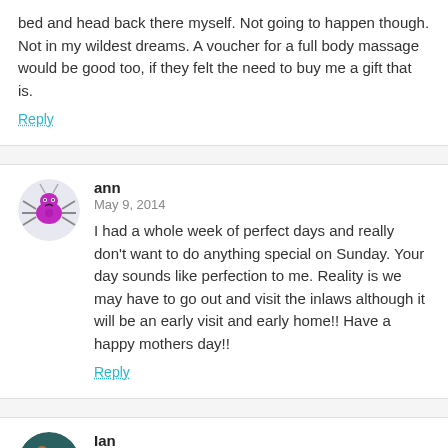bed and head back there myself. Not going to happen though. Not in my wildest dreams. A voucher for a full body massage would be good too, if they felt the need to buy me a gift that is.
Reply
ann
May 9, 2014
I had a whole week of perfect days and really don't want to do anything special on Sunday. Your day sounds like perfection to me. Reality is we may have to go out and visit the inlaws although it will be an early visit and early home!! Have a happy mothers day!!
Reply
Ian
May 11, 2014
Hi Tegan
Happy Mothers Day! I hope that whatever you do is relaxing and about you.